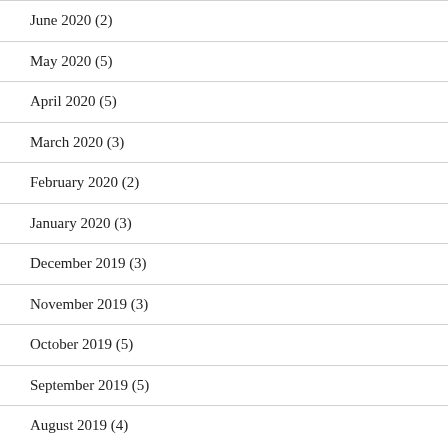June 2020 (2)
May 2020 (5)
April 2020 (5)
March 2020 (3)
February 2020 (2)
January 2020 (3)
December 2019 (3)
November 2019 (3)
October 2019 (5)
September 2019 (5)
August 2019 (4)